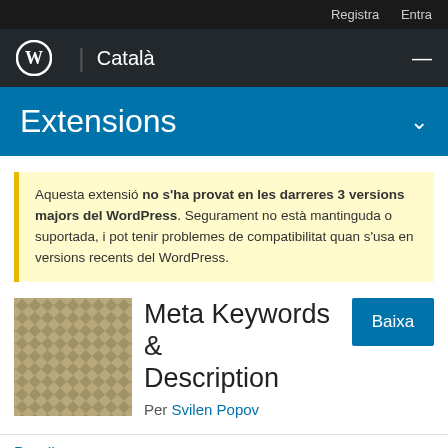Registra  Entra
[Figure (logo): WordPress logo with 'Català' text and hamburger menu on dark background]
Extensions
Aquesta extensió no s'ha provat en les darreres 3 versions majors del WordPress. Segurament no està mantinguda o suportada, i pot tenir problemes de compatibilitat quan s'usa en versions recents del WordPress.
[Figure (illustration): Plugin icon with diamond/tile pattern in tan/khaki color]
Meta Keywords & Description
Per Svilen Popov
Detalls